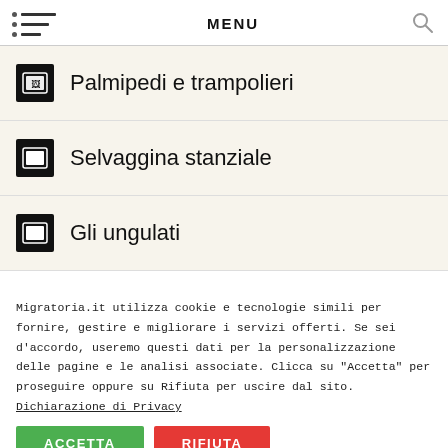MENU
Palmipedi e trampolieri
Selvaggina stanziale
Gli ungulati
Migratoria.it utilizza cookie e tecnologie simili per fornire, gestire e migliorare i servizi offerti. Se sei d'accordo, useremo questi dati per la personalizzazione delle pagine e le analisi associate. Clicca su "Accetta" per proseguire oppure su Rifiuta per uscire dal sito. Dichiarazione di Privacy
ACCETTA | RIFIUTA